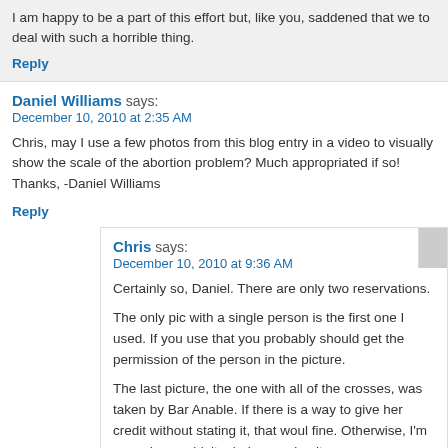I am happy to be a part of this effort but, like you, saddened that we to deal with such a horrible thing.
Reply
Daniel Williams says:
December 10, 2010 at 2:35 AM
Chris, may I use a few photos from this blog entry in a video to visually show the scale of the abortion problem? Much appropriated if so! Thanks, -Daniel Williams
Reply
Chris says:
December 10, 2010 at 9:36 AM
Certainly so, Daniel. There are only two reservations.
The only pic with a single person is the first one I used. If you use that you probably should get the permission of the person in the picture.
The last picture, the one with all of the crosses, was taken by Bar Anable. If there is a way to give her credit without stating it, that woul fine. Otherwise, I'm sure she wouldn't mind you using it.
I would like to know where the video will be shown. Please lea comment here when you can.
May the Lord bless your work!
Reply